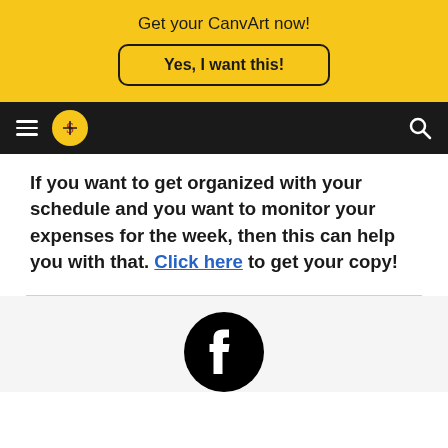Get your CanvArt now!
Yes, I want this!
[Figure (logo): Navigation bar with hamburger menu, circular logo with dollar sign, and search icon on dark background]
If you want to get organized with your schedule and you want to monitor your expenses for the week, then this can help you with that. Click here to get your copy!
[Figure (logo): Facebook logo - black circle with white 'f' letter]